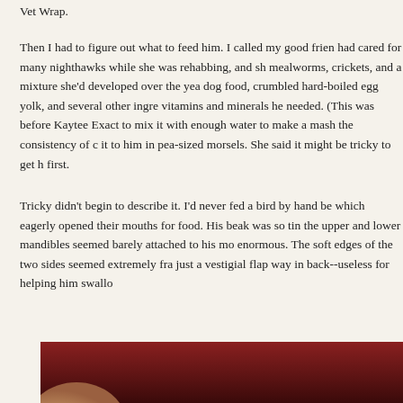Vet Wrap.
Then I had to figure out what to feed him. I called my good frien had cared for many nighthawks while she was rehabbing, and sh mealworms, crickets, and a mixture she'd developed over the yea dog food, crumbled hard-boiled egg yolk, and several other ingre vitamins and minerals he needed. (This was before Kaytee Exact to mix it with enough water to make a mash the consistency of c it to him in pea-sized morsels. She said it might be tricky to get h first.
Tricky didn't begin to describe it. I'd never fed a bird by hand be which eagerly opened their mouths for food. His beak was so tin the upper and lower mandibles seemed barely attached to his mo enormous. The soft edges of the two sides seemed extremely fra just a vestigial flap way in back--useless for helping him swallo
[Figure (photo): Bottom portion of a photo showing a dark reddish-brown background with what appears to be a finger or hand visible at the lower left]